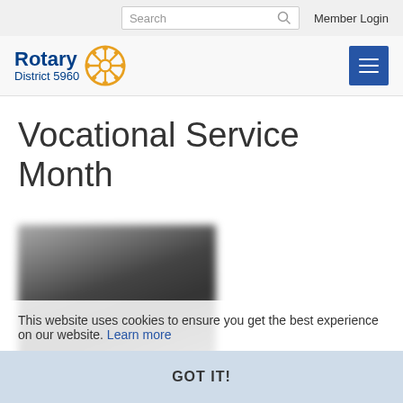Search | Member Login
[Figure (logo): Rotary District 5960 logo with gear wheel emblem]
Vocational Service Month
[Figure (photo): Blurred photo of a person, partially obscured by cookie consent overlay]
This website uses cookies to ensure you get the best experience on our website. Learn more
GOT IT!